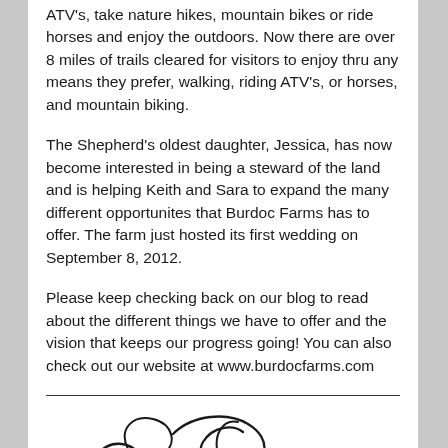ATV's, take nature hikes, mountain bikes or ride horses and enjoy the outdoors. Now there are over 8 miles of trails cleared for visitors to enjoy thru any means they prefer, walking, riding ATV's, or horses, and mountain biking.
The Shepherd's oldest daughter, Jessica, has now become interested in being a steward of the land and is helping Keith and Sara to expand the many different opportunites that Burdoc Farms has to offer. The farm just hosted its first wedding on September 8, 2012.
Please keep checking back on our blog to read about the different things we have to offer and the vision that keeps our progress going! You can also check out our website at www.burdocfarms.com
[Figure (illustration): Decorative calligraphic swirl/flourish signature mark in black ink]